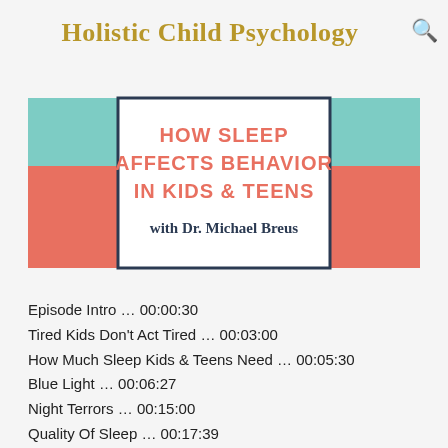Holistic Child Psychology
[Figure (illustration): Podcast episode cover art with teal and coral/red rectangular blocks on the left and right sides, and a centered bordered box containing the title 'HOW SLEEP AFFECTS BEHAVIOR IN KIDS & TEENS with Dr. Michael Breus' in coral/red and dark navy text.]
Episode Intro … 00:00:30
Tired Kids Don't Act Tired … 00:03:00
How Much Sleep Kids & Teens Need … 00:05:30
Blue Light … 00:06:27
Night Terrors … 00:15:00
Quality Of Sleep … 00:17:39